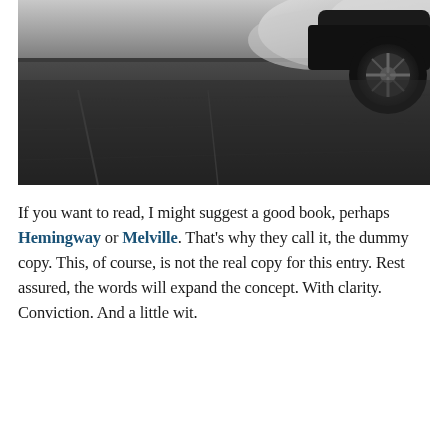[Figure (photo): Black and white photograph of a car (wheel visible in top right corner) on a dark road surface with smoke or dust in the background]
If you want to read, I might suggest a good book, perhaps Hemingway or Melville. That's why they call it, the dummy copy. This, of course, is not the real copy for this entry. Rest assured, the words will expand the concept. With clarity. Conviction. And a little wit.